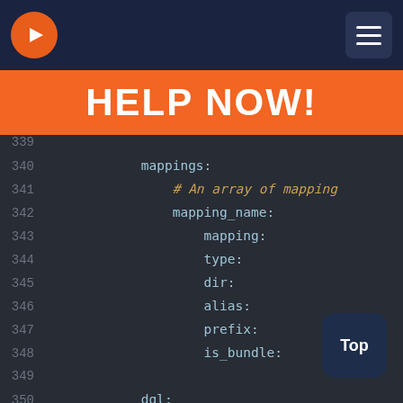[Figure (screenshot): Navigation bar with orange circular logo (arrow icon) on left and hamburger menu button on right, dark navy background]
HELP NOW!
[Figure (screenshot): Code editor showing lines 339-353 of a YAML configuration file with mappings, mapping_name, mapping, type, dir, alias, prefix, is_bundle, dql, string_functi fields. Dark theme code editor with line numbers on the left.]